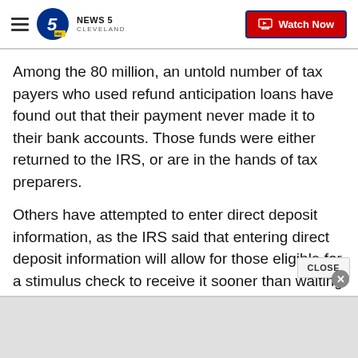NEWS 5 CLEVELAND — Watch Now
Among the 80 million, an untold number of tax payers who used refund anticipation loans have found out that their payment never made it to their bank accounts. Those funds were either returned to the IRS, or are in the hands of tax preparers.
Others have attempted to enter direct deposit information, as the IRS said that entering direct deposit information will allow for those eligible for a stimulus check to receive it sooner than waiting for a paper check.